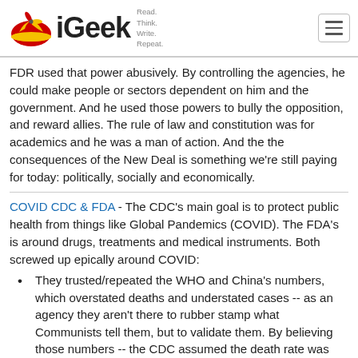iGeek — Read. Think. Write. Repeat.
FDR used that power abusively. By controlling the agencies, he could make people or sectors dependent on him and the government. And he used those powers to bully the opposition, and reward allies. The rule of law and constitution was for academics and he was a man of action. And the the consequences of the New Deal is something we're still paying for today: politically, socially and economically.
COVID CDC & FDA - The CDC's main goal is to protect public health from things like Global Pandemics (COVID). The FDA's is around drugs, treatments and medical instruments. Both screwed up epically around COVID:
They trusted/repeated the WHO and China's numbers, which overstated deaths and understated cases -- as an agency they aren't there to rubber stamp what Communists tell them, but to validate them. By believing those numbers -- the CDC assumed the death rate was high and the contagion was low of SARS-COV-2, which meant they failed to respond in a competent way.
They repeated the WHO in saying that we shouldn't be wearing masks, which let the contagion spread faster/further than it